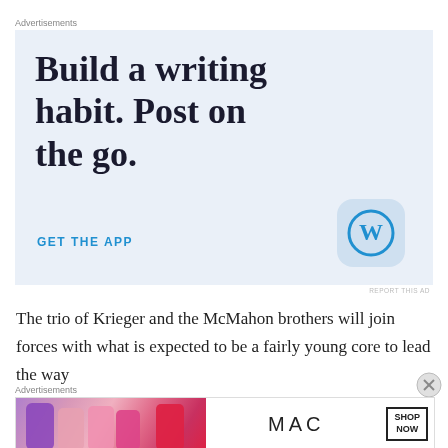Advertisements
[Figure (illustration): WordPress app advertisement with light blue background. Large bold serif text reads 'Build a writing habit. Post on the go.' Below is 'GET THE APP' in blue uppercase letters and a WordPress logo icon in a rounded square.]
The trio of Krieger and the McMahon brothers will join forces with what is expected to be a fairly young core to lead the way
Advertisements
[Figure (illustration): MAC cosmetics advertisement showing lipsticks on the left, MAC logo in center, and SHOP NOW button on the right.]